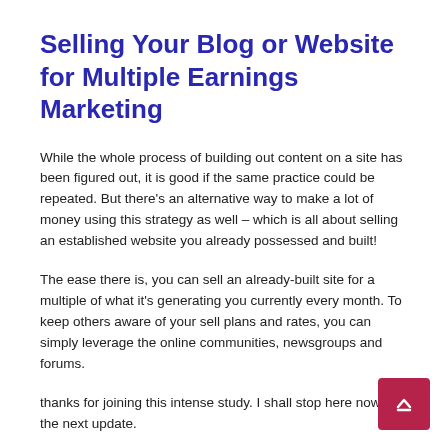Selling Your Blog or Website for Multiple Earnings Marketing
While the whole process of building out content on a site has been figured out, it is good if the same practice could be repeated. But there’s an alternative way to make a lot of money using this strategy as well – which is all about selling an established website you already possessed and built!
The ease there is, you can sell an already-built site for a multiple of what it’s generating you currently every month. To keep others aware of your sell plans and rates, you can simply leverage the online communities, newsgroups and forums.
thanks for joining this intense study. I shall stop here now till the next update.